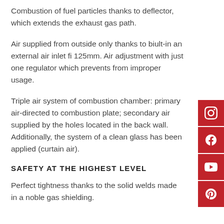Combustion of fuel particles thanks to deflector, which extends the exhaust gas path.
Air supplied from outside only thanks to biult-in an external air inlet fi 125mm. Air adjustment with just one regulator which prevents from improper usage.
Triple air system of combustion chamber: primary air-directed to combustion plate; secondary air supplied by the holes located in the back wall. Additionally, the system of a clean glass has been applied (curtain air).
SAFETY AT THE HIGHEST LEVEL
Perfect tightness thanks to the solid welds made in a noble gas shielding.